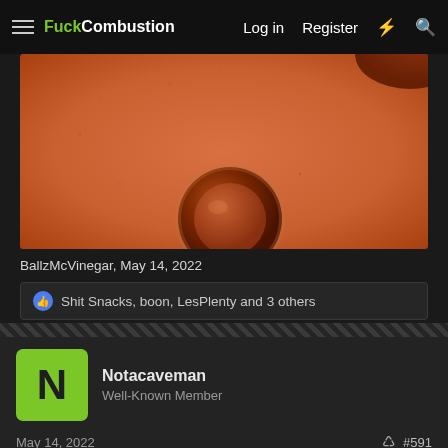FuckCombustion  Log in  Register
[Figure (photo): Close-up photo of an amber/orange colored glass container or bowl piece on an orange textured surface]
BallzMcVinegar, May 14, 2022
👍 Shit Snacks, boon, LesPlenty and 3 others
Notacaveman
Well-Known Member
May 14, 2022  #591
Shit Snacks said: ⊕
Haha, saw that one before, that would be awesome if he made it with the standard joint, never thought of asking, because yeah they always need a quantity bulk order, oh well 50 is a lot to move